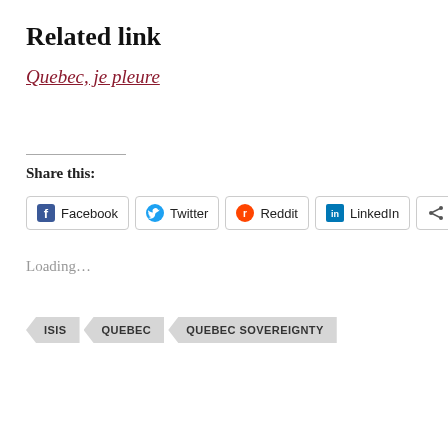Related link
Quebec, je pleure
Share this:
Facebook  Twitter  Reddit  LinkedIn  More
Loading...
ISIS  QUEBEC  QUEBEC SOVEREIGNTY